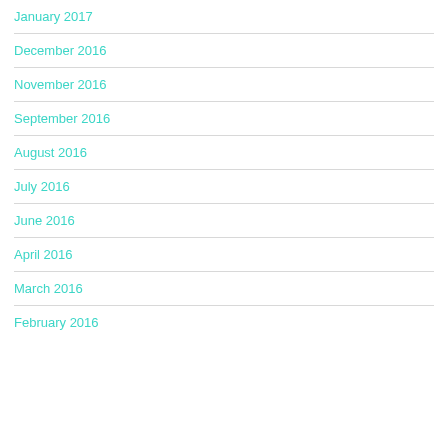January 2017
December 2016
November 2016
September 2016
August 2016
July 2016
June 2016
April 2016
March 2016
February 2016